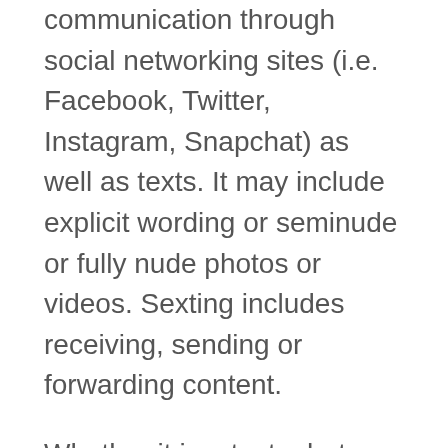communication through social networking sites (i.e. Facebook, Twitter, Instagram, Snapchat) as well as texts. It may include explicit wording or seminude or fully nude photos or videos. Sexting includes receiving, sending or forwarding content.
Whether it is a text, photo or video, digital information can last forever. The sender has no control over the choice of the receiver to copy, alter, post or pass it on.
Sexting can result in many different consequences. Once the send button is pressed, it's out there and can take on a life of its own. Embarrassment, school discipline, trouble at home, legal problems